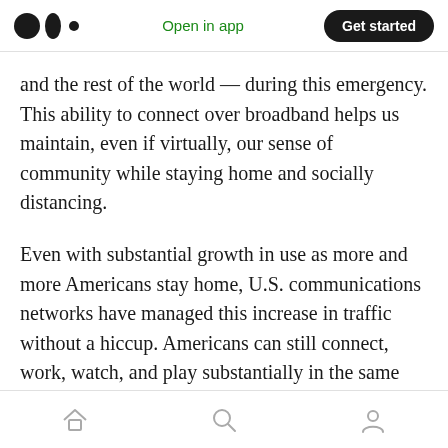Medium logo | Open in app | Get started
and the rest of the world — during this emergency. This ability to connect over broadband helps us maintain, even if virtually, our sense of community while staying home and socially distancing.
Even with substantial growth in use as more and more Americans stay home, U.S. communications networks have managed this increase in traffic without a hiccup. Americans can still connect, work, watch, and play substantially in the same way as before we shifted to home-based lifestyles.
Home | Search | Profile